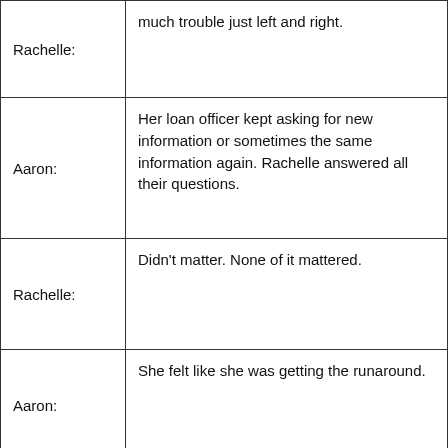| Speaker | Dialogue |
| --- | --- |
| Rachelle: | much trouble just left and right. |
| Aaron: | Her loan officer kept asking for new information or sometimes the same information again. Rachelle answered all their questions. |
| Rachelle: | Didn't matter. None of it mattered. |
| Aaron: | She felt like she was getting the runaround. |
|  | I was really sad. I remember there was one day where I just sat on the couch and I was so |